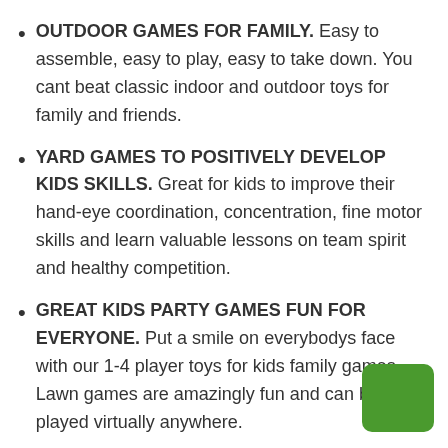OUTDOOR GAMES FOR FAMILY. Easy to assemble, easy to play, easy to take down. You cant beat classic indoor and outdoor toys for family and friends.
YARD GAMES TO POSITIVELY DEVELOP KIDS SKILLS. Great for kids to improve their hand-eye coordination, concentration, fine motor skills and learn valuable lessons on team spirit and healthy competition.
GREAT KIDS PARTY GAMES FUN FOR EVERYONE. Put a smile on everybodys face with our 1-4 player toys for kids family games. Lawn games are amazingly fun and can be played virtually anywhere.
UNPLUG AND UNWIND WITH RING TOSS. G children, friends and family up and out for a healthy